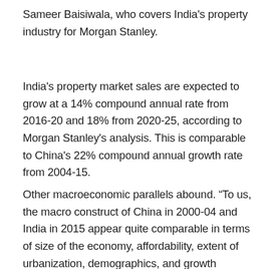Sameer Baisiwala, who covers India's property industry for Morgan Stanley.
India's property market sales are expected to grow at a 14% compound annual rate from 2016-20 and 18% from 2020-25, according to Morgan Stanley's analysis. This is comparable to China's 22% compound annual growth rate from 2004-15.
Other macroeconomic parallels abound. “To us, the macro construct of China in 2000-04 and India in 2015 appear quite comparable in terms of size of the economy, affordability, extent of urbanization, demographics, and growth prospects,” says Baisiwala. For instance, China notched $1.9 trillion in GDP in 2004, compared to India’s $1.8 trillion GDP in